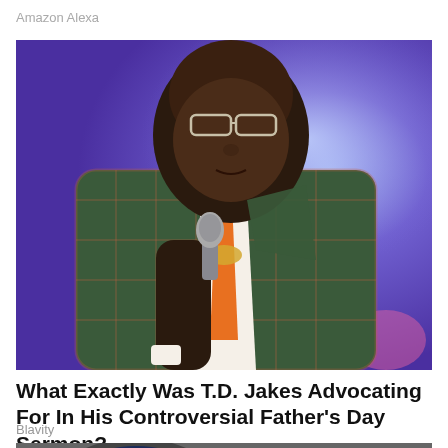Amazon Alexa
[Figure (photo): Man in a plaid green and orange blazer speaking into a microphone on a purple-lit stage, wearing glasses and an orange tie]
What Exactly Was T.D. Jakes Advocating For In His Controversial Father's Day Sermon?
Blavity
[Figure (photo): Partial image of a football helmet visible at bottom of page]